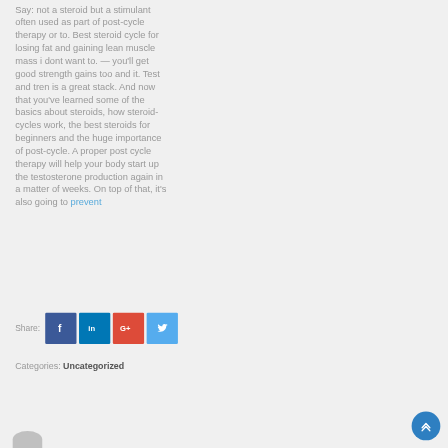Say: not a steroid but a stimulant often used as part of post-cycle therapy or to. Best steroid cycle for losing fat and gaining lean muscle mass i dont want to. — you'll get good strength gains too and it. Test and tren is a great stack. And now that you've learned some of the basics about steroids, how steroid-cycles work, the best steroids for beginners and the huge importance of post-cycle. A proper post cycle therapy will help your body start up the testosterone production again in a matter of weeks. On top of that, it's also going to prevent
Share:
Categories: Uncategorized